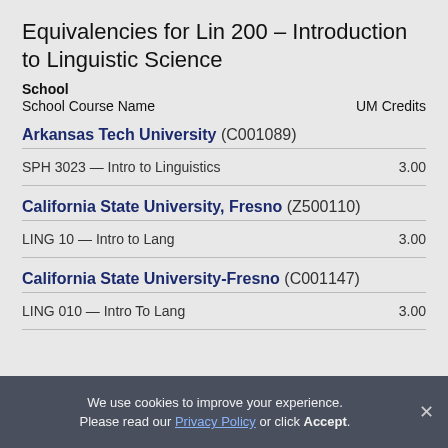Equivalencies for Lin 200 – Introduction to Linguistic Science
School
School Course Name    UM Credits
Arkansas Tech University (C001089)
| School Course Name | UM Credits |
| --- | --- |
| SPH 3023 — Intro to Linguistics | 3.00 |
California State University, Fresno (Z500110)
| School Course Name | UM Credits |
| --- | --- |
| LING 10 — Intro to Lang | 3.00 |
California State University-Fresno (C001147)
| School Course Name | UM Credits |
| --- | --- |
| LING 010 — Intro To Lang | 3.00 |
We use cookies to improve your experience. Please read our Privacy Policy or click Accept.